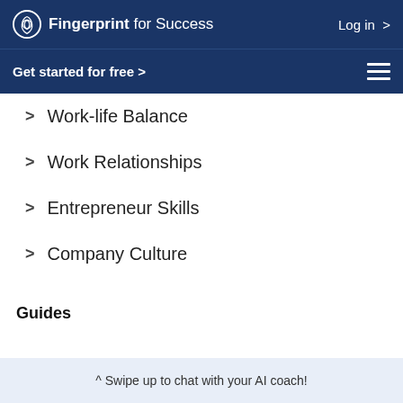Fingerprint for Success   Log in >
Get started for free >
> Work-life Balance
> Work Relationships
> Entrepreneur Skills
> Company Culture
Guides
^ Swipe up to chat with your AI coach!